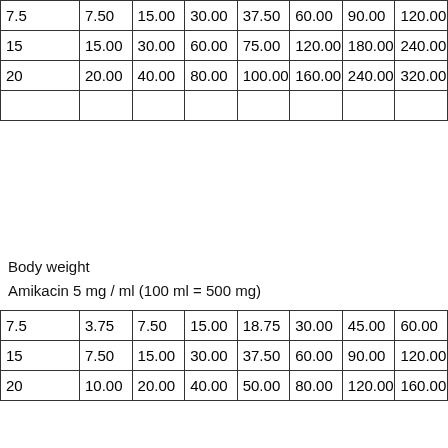| 7.5 | 7.50 | 15.00 | 30.00 | 37.50 | 60.00 | 90.00 | 120.00 |
| 15 | 15.00 | 30.00 | 60.00 | 75.00 | 120.00 | 180.00 | 240.00 |
| 20 | 20.00 | 40.00 | 80.00 | 100.00 | 160.00 | 240.00 | 320.00 |
|  |  |  |  |  |  |  |  |
Body weight
Amikacin 5 mg / ml (100 ml = 500 mg)
| 7.5 | 3.75 | 7.50 | 15.00 | 18.75 | 30.00 | 45.00 | 60.00 | 7… |
| 15 | 7.50 | 15.00 | 30.00 | 37.50 | 60.00 | 90.00 | 120.00 | 1… |
| 20 | 10.00 | 20.00 | 40.00 | 50.00 | 80.00 | 120.00 | 160.00 | 2… |